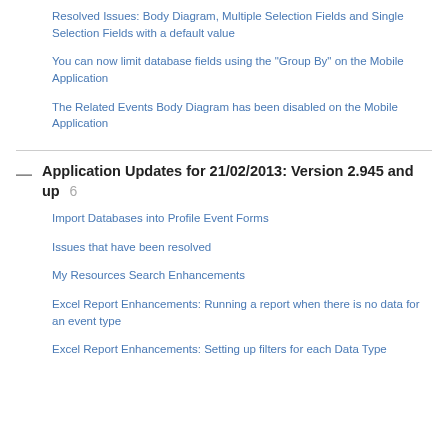Resolved Issues: Body Diagram, Multiple Selection Fields and Single Selection Fields with a default value
You can now limit database fields using the "Group By" on the Mobile Application
The Related Events Body Diagram has been disabled on the Mobile Application
Application Updates for 21/02/2013: Version 2.945 and up  6
Import Databases into Profile Event Forms
Issues that have been resolved
My Resources Search Enhancements
Excel Report Enhancements: Running a report when there is no data for an event type
Excel Report Enhancements: Setting up filters for each Data Type